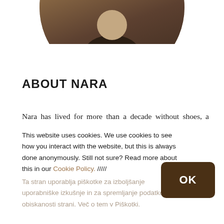[Figure (photo): Cropped circular photo of a person among rocks, showing partial torso and hands, with warm earthy tones]
ABOUT NARA
Nara has lived for more than a decade without shoes, a toothbrush, flushing toilets, and other "necessities" of modern life. This native Slovene travels the world barefoot, speaking, teaching, and supporting environmental projects. His homebase is a sustainable
This website uses cookies. We use cookies to see how you interact with the website, but this is always done anonymously. Still not sure? Read more about this in our Cookie Policy. ///// Ta stran uporablja piškotke za izboljšanje uporabniške izkušnje in za spremljanje podatkov o obiskanosti strani. Več o tem v Piškotki.